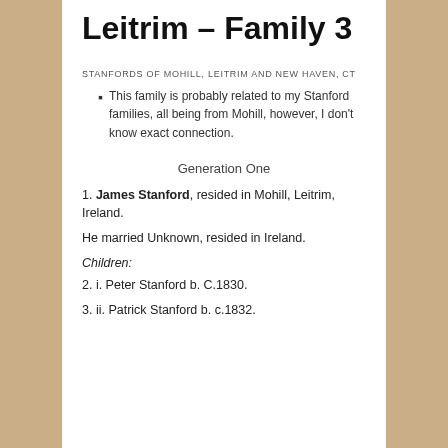Leitrim – Family 3
STANFORDS OF MOHILL, LEITRIM AND NEW HAVEN, CT
This family is probably related to my Stanford families, all being from Mohill, however, I don't know exact connection.
Generation One
1. James Stanford, resided in Mohill, Leitrim, Ireland.
He married Unknown, resided in Ireland.
Children:
2. i. Peter Stanford b. C.1830.
3. ii. Patrick Stanford b. c.1832.